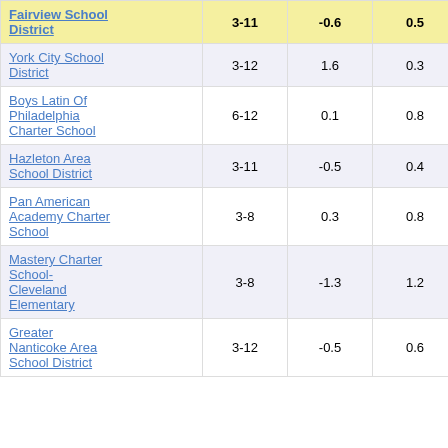|  |  |  |  |  |
| --- | --- | --- | --- | --- |
| Fairview School District | 3-11 | -0.6 | 0.5 | -1.14 |
| York City School District | 3-12 | 1.6 | 0.3 | 5.37 |
| Boys Latin Of Philadelphia Charter School | 6-12 | 0.1 | 0.8 | 0.12 |
| Hazleton Area School District | 3-11 | -0.5 | 0.4 | -1.13 |
| Pan American Academy Charter School | 3-8 | 0.3 | 0.8 | 0.43 |
| Mastery Charter School-Cleveland Elementary | 3-8 | -1.3 | 1.2 | -1.10 |
| Greater Nanticoke Area School District | 3-12 | -0.5 | 0.6 | -0.92 |